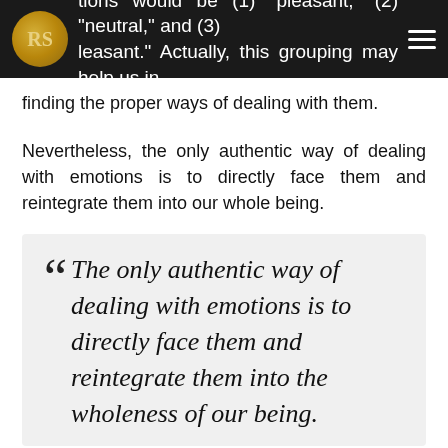tions would be (1) "pleasant," (2) "neutral," and (3) "leasant." Actually, this grouping may help us in finding the proper ways of dealing with them.
finding the proper ways of dealing with them.
Nevertheless, the only authentic way of dealing with emotions is to directly face them and reintegrate them into our whole being.
“ The only authentic way of dealing with emotions is to directly face them and reintegrate them into the wholeness of our being.